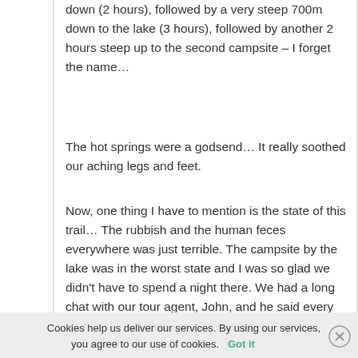down (2 hours), followed by a very steep 700m down to the lake (3 hours), followed by another 2 hours steep up to the second campsite – I forget the name…
The hot springs were a godsend… It really soothed our aching legs and feet.
Now, one thing I have to mention is the state of this trail… The rubbish and the human feces everywhere was just terrible. The campsite by the lake was in the worst state and I was so glad we didn't have to spend a night there. We had a long chat with our tour agent, John, and he said every month the national park takes over 100 million rupiah from visitors, but most of which, she said, is taken by the government.
Cookies help us deliver our services. By using our services, you agree to our use of cookies. Got it